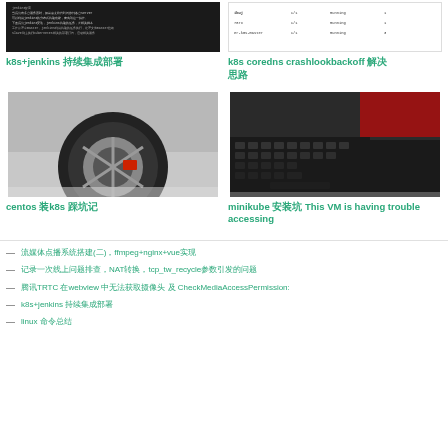[Figure (screenshot): Terminal/dark background screenshot with Chinese text about jenkins and k8s]
[Figure (screenshot): Table showing pod status: ibuj 1/1 Running 1, 78rx 1/1 Running 1, er-k8s-master 1/1 Running 3]
k8s+jenkins 持续集成
k8s coredns crashlookbackoff 解决
[Figure (photo): Close-up photo of a car wheel/tire with red brake caliper]
[Figure (photo): Close-up photo of a laptop keyboard]
centos 装k8s 踩坑记
minikube 安装坑 This VM is having trouble accessing
流媒体点播系统搭建(二)，ffmpeg+nginx+vue实现
记录一次线上问题排查，NAT转换，tcp_tw_recycle参数引发的问题
腾讯TRTC 在webview 中无法获取摄像头 及 CheckMediaAccessPermission:
k8s+jenkins 持续集成
linux 命令总结